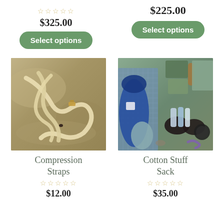$325.00
[Figure (other): Stars rating (empty) for first top product]
Select options
$225.00
Select options
[Figure (photo): Photo of compression straps (tan/beige webbing straps laid out on rocky ground)]
Compression Straps
[Figure (other): Stars rating (empty) for Compression Straps]
$12.00
[Figure (photo): Photo of cotton stuff sack and camping gear (blue sleeping bag, shoes, green pouches, bottles laid out on ground)]
Cotton Stuff Sack
[Figure (other): Stars rating (empty) for Cotton Stuff Sack]
$35.00